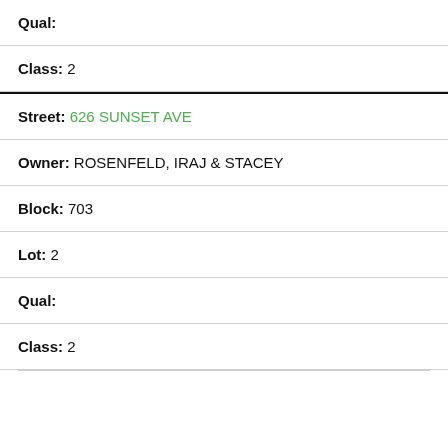Qual:
Class: 2
Street: 626 SUNSET AVE
Owner: ROSENFELD, IRAJ & STACEY
Block: 703
Lot: 2
Qual:
Class: 2